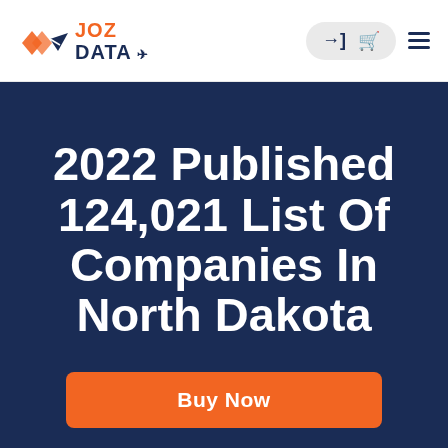JOZ DATA
2022 Published 124,021 List Of Companies In North Dakota
Buy Now